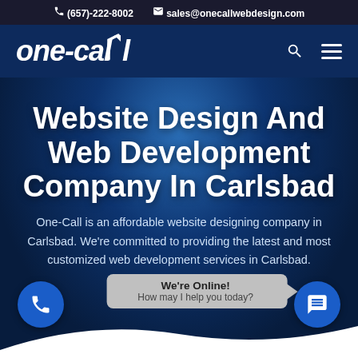☎ (657)-222-8002   ✉ sales@onecallwebdesign.com
[Figure (logo): one-call web design logo in white italic bold text with upward arrow in the letter l, on dark navy background, with search and hamburger menu icons]
Website Design And Web Development Company In Carlsbad
One-Call is an affordable website designing company in Carlsbad. We're committed to providing the latest and most customized web development services in Carlsbad.
We're Online!
How may I help you today?